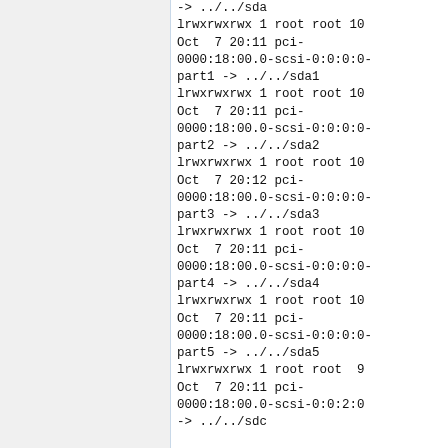-> ../../sda
lrwxrwxrwx 1 root root 10 Oct  7 20:11 pci-0000:18:00.0-scsi-0:0:0:0-part1 -> ../../sda1
lrwxrwxrwx 1 root root 10 Oct  7 20:11 pci-0000:18:00.0-scsi-0:0:0:0-part2 -> ../../sda2
lrwxrwxrwx 1 root root 10 Oct  7 20:12 pci-0000:18:00.0-scsi-0:0:0:0-part3 -> ../../sda3
lrwxrwxrwx 1 root root 10 Oct  7 20:11 pci-0000:18:00.0-scsi-0:0:0:0-part4 -> ../../sda4
lrwxrwxrwx 1 root root 10 Oct  7 20:11 pci-0000:18:00.0-scsi-0:0:0:0-part5 -> ../../sda5
lrwxrwxrwx 1 root root  9 Oct  7 20:11 pci-0000:18:00.0-scsi-0:0:2:0 -> ../../sdc